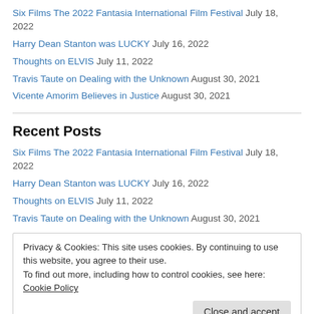Six Films The 2022 Fantasia International Film Festival July 18, 2022
Harry Dean Stanton was LUCKY July 16, 2022
Thoughts on ELVIS July 11, 2022
Travis Taute on Dealing with the Unknown August 30, 2021
Vicente Amorim Believes in Justice August 30, 2021
Recent Posts
Six Films The 2022 Fantasia International Film Festival July 18, 2022
Harry Dean Stanton was LUCKY July 16, 2022
Thoughts on ELVIS July 11, 2022
Travis Taute on Dealing with the Unknown August 30, 2021
Privacy & Cookies: This site uses cookies. By continuing to use this website, you agree to their use. To find out more, including how to control cookies, see here: Cookie Policy
Close and accept